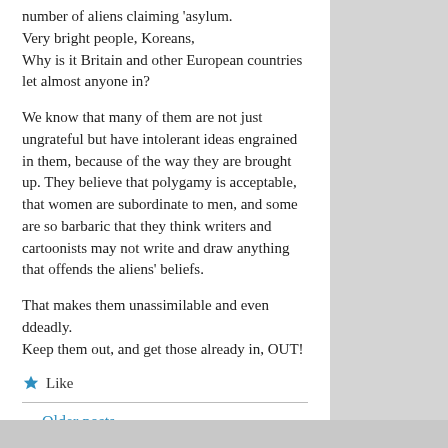number of aliens claiming 'asylum.
Very bright people, Koreans,
Why is it Britain and other European countries let almost anyone in?
We know that many of them are not just ungrateful but have intolerant ideas engrained in them, because of the way they are brought up. They believe that polygamy is acceptable, that women are subordinate to men, and some are so barbaric that they think writers and cartoonists may not write and draw anything that offends the aliens' beliefs.
That makes them unassimilable and even ddeadly.
Keep them out, and get those already in, OUT!
Like
← Older posts